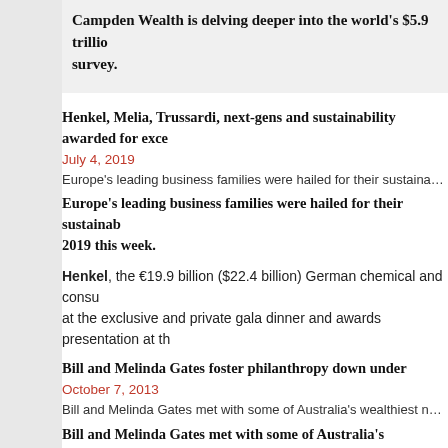Campden Wealth is delving deeper into the world's $5.9 trillion survey.
Henkel, Melia, Trussardi, next-gens and sustainability awarded for excellence
July 4, 2019
Europe's leading business families were hailed for their sustainability and stewardship
Europe's leading business families were hailed for their sustainability 2019 this week.
Henkel, the €19.9 billion ($22.4 billion) German chemical and consumer goods company was honoured at the exclusive and private gala dinner and awards presentation at the
Bill and Melinda Gates foster philanthropy down under
October 7, 2013
Bill and Melinda Gates met with some of Australia's wealthiest next gens last week
Bill and Melinda Gates met with some of Australia's wealthiest next worth individuals.
The Gates – who have already given away a reported $28 billion (€20 dynasties for three hours in San Francisco.